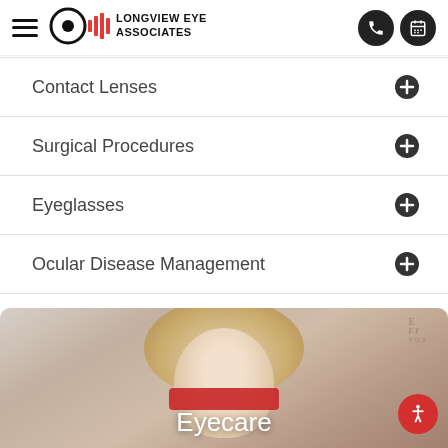[Figure (logo): Longview Eye Associates logo with hamburger menu, eye icon with soundwave graphic, and two dark circular icon buttons (phone and calendar) on the right]
Contact Lenses
Surgical Procedures
Eyeglasses
Ocular Disease Management
[Figure (photo): Child with curly blonde hair holding red eyeglasses up to their face, with an eye chart visible in the background. Text overlay reads 'Eyecare'.]